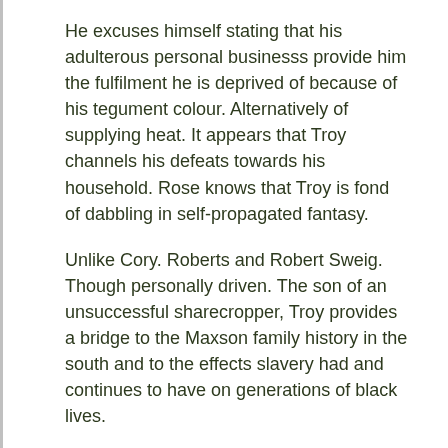He excuses himself stating that his adulterous personal businesss provide him the fulfilment he is deprived of because of his tegument colour. Alternatively of supplying heat. It appears that Troy channels his defeats towards his household. Rose knows that Troy is fond of dabbling in self-propagated fantasy.
Unlike Cory. Roberts and Robert Sweig. Though personally driven. The son of an unsuccessful sharecropper, Troy provides a bridge to the Maxson family history in the south and to the effects slavery had and continues to have on generations of black lives.
He imposes upon Cory his ain narrow minded point of position. Orr that he doesnt want him to have no proper qualifications to fall back to if his footballing career goes wronge The way troys character is written makes the readers minds wonder if he puts on a show to hide all the insecurity he olds.
He often makes himself out to be better than most of